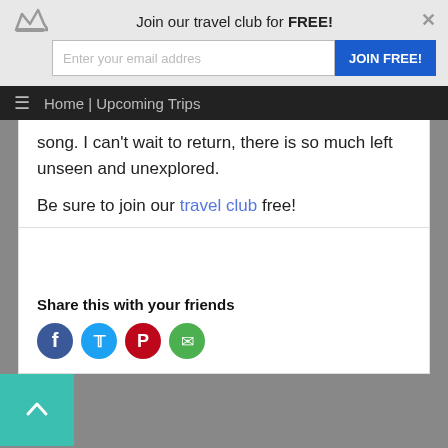Join our travel club for FREE!
Home | Upcoming Trips
song. I can't wait to return, there is so much left unseen and unexplored.
Be sure to join our travel club free!
Share this with your friends
© 2022 PhotoFly Travel | CST # 2101181-40 | Privacy Policy | About Us